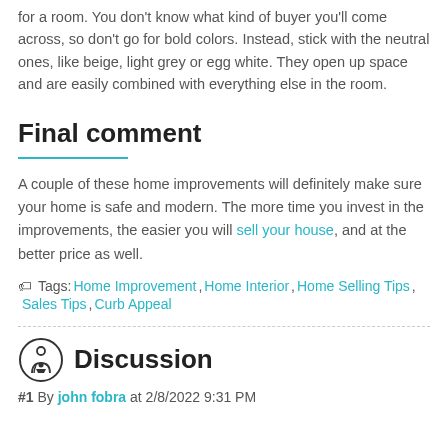for a room. You don't know what kind of buyer you'll come across, so don't go for bold colors. Instead, stick with the neutral ones, like beige, light grey or egg white. They open up space and are easily combined with everything else in the room.
Final comment
A couple of these home improvements will definitely make sure your home is safe and modern. The more time you invest in the improvements, the easier you will sell your house, and at the better price as well.
Tags: Home Improvement, Home Interior , Home Selling Tips, Sales Tips, Curb Appeal
Discussion
#1 By john fobra at 2/8/2022 9:31 PM